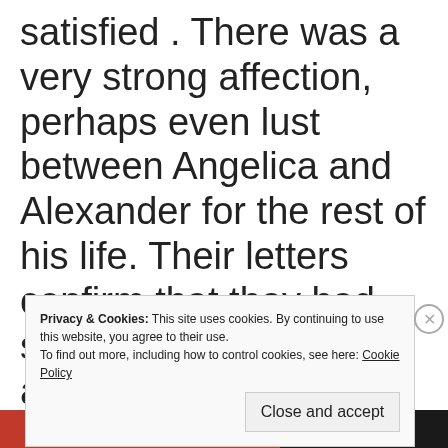satisfied . There was a very strong affection, perhaps even lust between Angelica and Alexander for the rest of his life. Their letters confirm that they had strong feelings for one another, but despite rumors to the contrary, there is no clear evidence that they
Privacy & Cookies: This site uses cookies. By continuing to use this website, you agree to their use. To find out more, including how to control cookies, see here: Cookie Policy
Close and accept